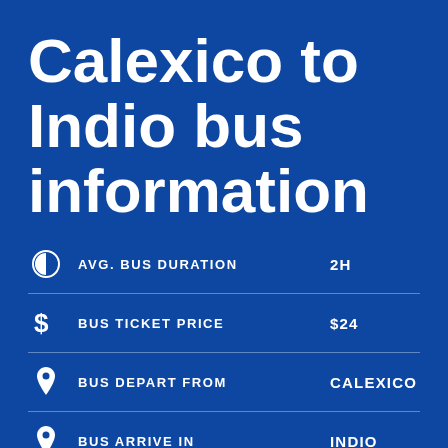Calexico to Indio bus information
|  | Label | Value |
| --- | --- | --- |
| [clock icon] | AVG. BUS DURATION | 2H |
| [dollar icon] | BUS TICKET PRICE | $24 |
| [pin icon] | BUS DEPART FROM | CALEXICO |
| [pin icon] | BUS ARRIVE IN | INDIO |